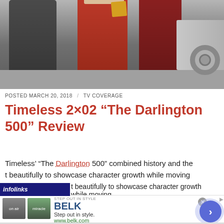[Figure (photo): Two people standing near a red box/cabinet, with a vintage car visible on the right side, in what appears to be a garage setting.]
POSTED MARCH 20, 2018 / TV COVERAGE
Timeless 2×02 “The Darlington 500” Review
Timeless’ “The Darlington 500” combined history and the [present] beautifully to showcase character growth while moving
[Figure (screenshot): Infolinks ad overlay bar with BELK advertisement: 'Step out in style.' www.belk.com, with two thumbnail images and a navigation arrow button.]